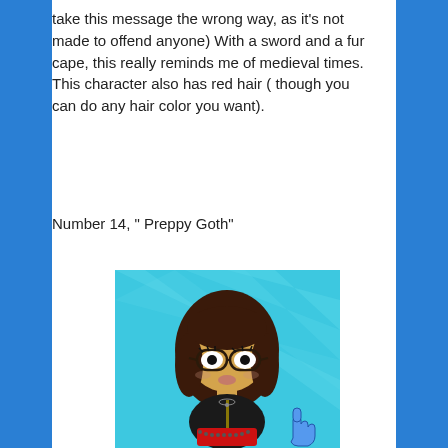take this message the wrong way, as it's not made to offend anyone) With a sword and a fur cape, this really reminds me of medieval times. This character also has red hair ( though you can do any hair color you want).
Number 14, " Preppy Goth"
[Figure (illustration): Cartoon character illustration: a female animated character with large round eyes behind glasses, dark brown hair, wearing a black jacket with studs, a red skirt, and standing against a light blue background with diagonal rays. A blue pointing hand cursor is visible in the lower right corner.]